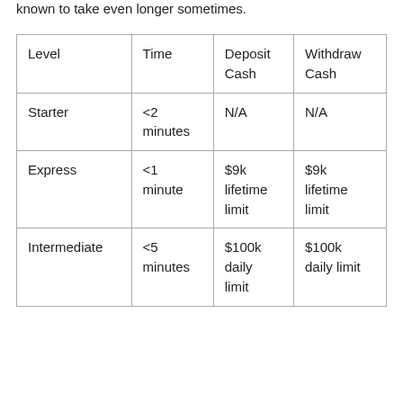known to take even longer sometimes.
| Level | Time | Deposit Cash | Withdraw Cash |
| --- | --- | --- | --- |
| Starter | <2 minutes | N/A | N/A |
| Express | <1 minute | $9k lifetime limit | $9k lifetime limit |
| Intermediate | <5 minutes | $100k daily limit | $100k daily limit |